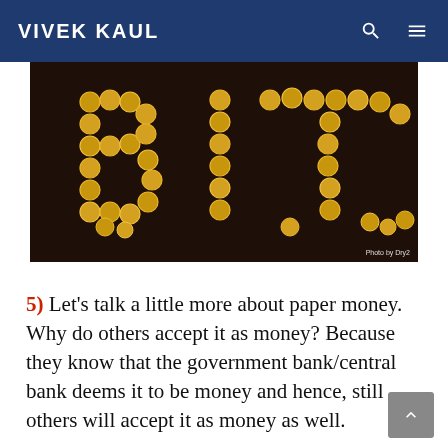VIVEK KAUL
[Figure (photo): Gold coins arranged on a dark background spelling out the letters 'BIT'. Photo credit: Photo by Dry2]
5) Let's talk a little more about paper money. Why do others accept it as money? Because they know that the government bank/central bank deems it to be money and hence, still others will accept it as money as well.